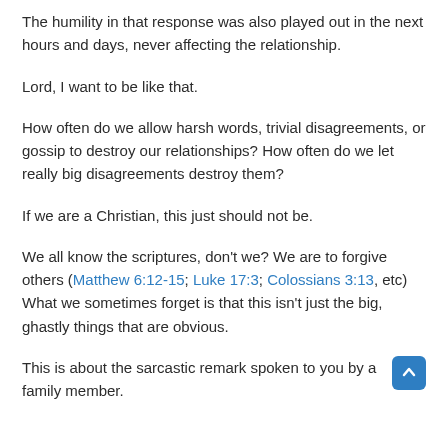The humility in that response was also played out in the next hours and days, never affecting the relationship.
Lord, I want to be like that.
How often do we allow harsh words, trivial disagreements, or gossip to destroy our relationships? How often do we let really big disagreements destroy them?
If we are a Christian, this just should not be.
We all know the scriptures, don’t we? We are to forgive others (Matthew 6:12-15; Luke 17:3; Colossians 3:13, etc) What we sometimes forget is that this isn’t just the big, ghastly things that are obvious.
This is about the sarcastic remark spoken to you by a family member.